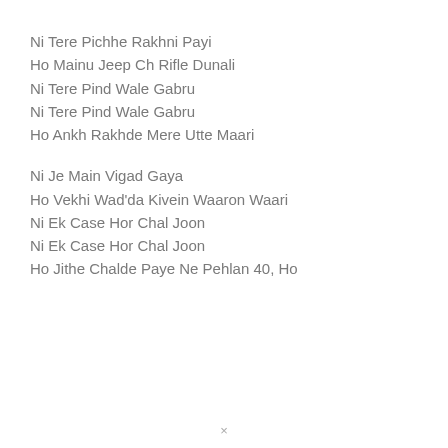Ni Tere Pichhe Rakhni Payi
Ho Mainu Jeep Ch Rifle Dunali
Ni Tere Pind Wale Gabru
Ni Tere Pind Wale Gabru
Ho Ankh Rakhde Mere Utte Maari
Ni Je Main Vigad Gaya
Ho Vekhi Wad'da Kivein Waaron Waari
Ni Ek Case Hor Chal Joon
Ni Ek Case Hor Chal Joon
Ho Jithe Chalde Paye Ne Pehlan 40, Ho
×